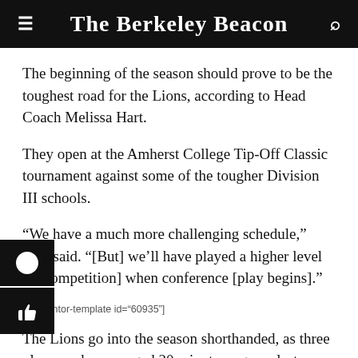The Berkeley Beacon
The beginning of the season should prove to be the toughest road for the Lions, according to Head Coach Melissa Hart.
They open at the Amherst College Tip-Off Classic tournament against some of the tougher Division III schools.
“We have a much more challenging schedule,” Hart said. “[But] we’ll have played a higher level [of competition] when conference [play begins].”
[elementor-template id="60935"]
The Lions go into the season shorthanded, as three players who averaged 20 minutes a game last season are currently injured.
ater Mallory Frers has an ankle injury and will miss the ...of the season. She is expected to...